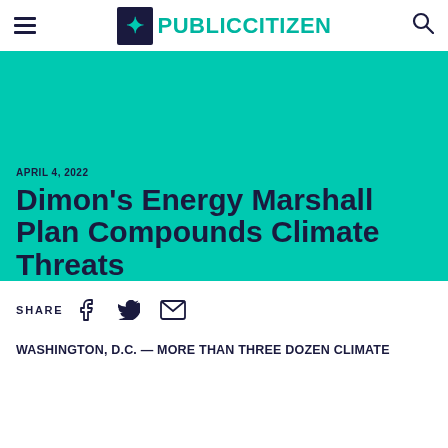PUBLIC CITIZEN
APRIL 4, 2022
Dimon's Energy Marshall Plan Compounds Climate Threats
SHARE
WASHINGTON, D.C. — More than three dozen climate